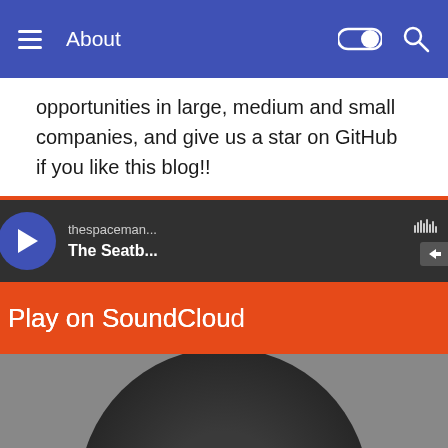About
opportunities in large, medium and small companies, and give us a star on GitHub if you like this blog!!
[Figure (screenshot): SoundCloud embedded player widget showing 'The Seatb...' track by 'thespaceman...' with Play on SoundCloud and Listen in browser buttons, a circular vinyl record visual, waveform, time display 3:27, and Privacy policy link.]
- The Seatbelts - Tank!
Cloud Computing job market in 2016
Click to expand!